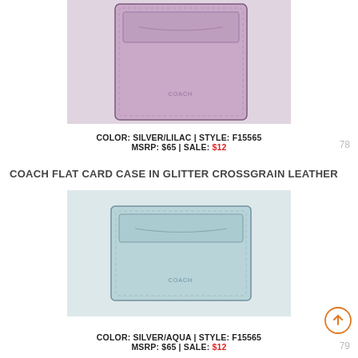[Figure (photo): Coach flat card case in silver/lilac crossgrain leather, shown from front, partially cropped at top]
COLOR: SILVER/LILAC | STYLE: F15565
MSRP: $65 | SALE: $12
COACH FLAT CARD CASE IN GLITTER CROSSGRAIN LEATHER
[Figure (photo): Coach flat card case in silver/aqua glitter crossgrain leather, shown from front on light gray background]
COLOR: SILVER/AQUA | STYLE: F15565
MSRP: $65 | SALE: $12